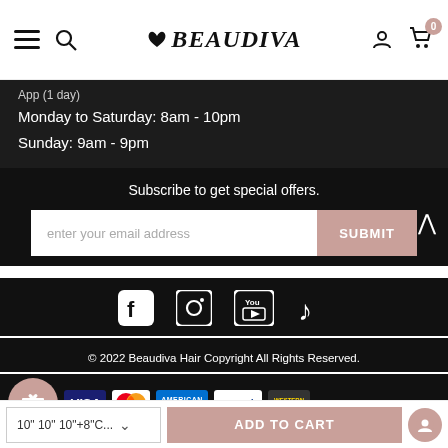Beaudiva — navigation bar with logo, search, account, and cart (0 items)
Monday to Saturday: 8am - 10pm
Sunday: 9am - 9pm
Subscribe to get special offers.
enter your email address
SUBMIT
[Figure (infographic): Social media icons: Facebook, Instagram, YouTube, TikTok]
© 2022 Beaudiva Hair Copyright All Rights Reserved.
[Figure (infographic): Payment method logos: VISA, MasterCard, American Express, PayPal, Western Union]
10" 10" 10"+8"C...
ADD TO CART